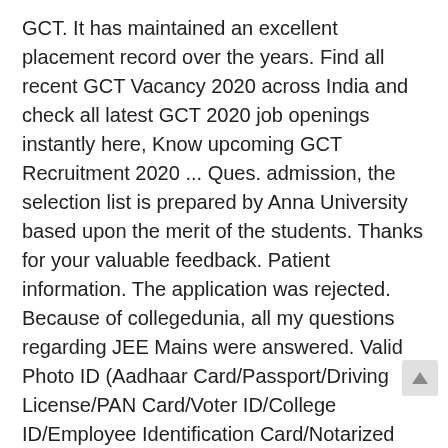GCT. It has maintained an excellent placement record over the years. Find all recent GCT Vacancy 2020 across India and check all latest GCT 2020 job openings instantly here, Know upcoming GCT Recruitment 2020 ... Ques. admission, the selection list is prepared by Anna University based upon the merit of the students. Thanks for your valuable feedback. Patient information. The application was rejected. Because of collegedunia, all my questions regarding JEE Mains were answered. Valid Photo ID (Aadhaar Card/Passport/Driving License/PAN Card/Voter ID/College ID/Employee Identification Card/Notarized Affidavit with Photo, Signature, Date of Birth and Residential Address). Contact. 6 SECTION III: APPLICATION FORM PART 1: General information A. Take a print out of this downloaded application form. Rakhee SharmaNov 23, 2020. GCT may also make improvements and/or changes to the products and/or to the programs described in the content at any time without notice. Other than that the atmosphere and Relationship between Professors and students is amazing. HOW TO APPLY FOR THE GOVERNMENT